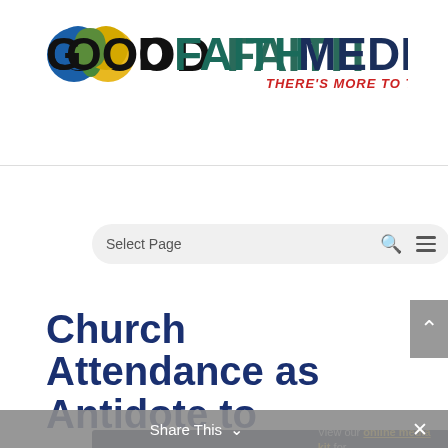[Figure (logo): Good Faith Media logo with circular overlapping blue and yellow/green circles, text GOOD in black bold, FAITH in dark teal, MEDIA in dark navy bold, tagline THERE'S MORE TO TELL in red italic]
[Figure (screenshot): Navigation search bar with Select Page text, search icon, and hamburger menu icon on gray rounded rectangle background]
[Figure (infographic): Dark navy advertisement banner: ADVERTISE YOUR EVENT ON ON OUR SITE in yellow bold italic text, GFM logo circle, View our online media kit for information on deadlines, cost, dimensions, and more!]
Church Attendance as Antidote to